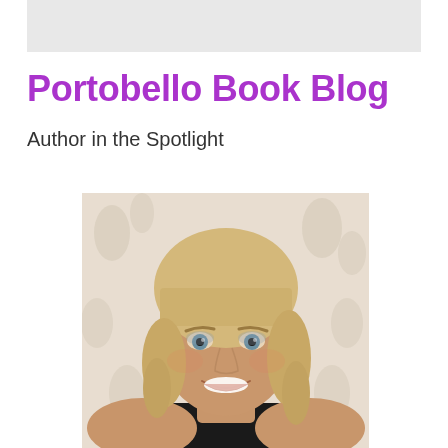[Figure (other): Gray header banner bar at top of page]
Portobello Book Blog
Author in the Spotlight
[Figure (photo): Portrait photo of a smiling blonde woman with bangs, wearing a black off-shoulder top, posed against a floral wallpaper background]